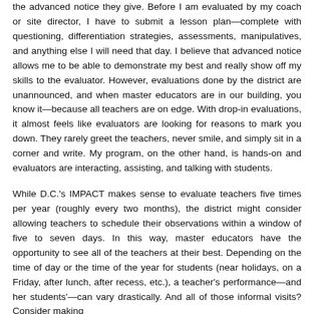the advanced notice they give. Before I am evaluated by my coach or site director, I have to submit a lesson plan—complete with questioning, differentiation strategies, assessments, manipulatives, and anything else I will need that day. I believe that advanced notice allows me to be able to demonstrate my best and really show off my skills to the evaluator. However, evaluations done by the district are unannounced, and when master educators are in our building, you know it—because all teachers are on edge. With drop-in evaluations, it almost feels like evaluators are looking for reasons to mark you down. They rarely greet the teachers, never smile, and simply sit in a corner and write. My program, on the other hand, is hands-on and evaluators are interacting, assisting, and talking with students.
While D.C.'s IMPACT makes sense to evaluate teachers five times per year (roughly every two months), the district might consider allowing teachers to schedule their observations within a window of five to seven days. In this way, master educators have the opportunity to see all of the teachers at their best. Depending on the time of day or the time of the year for students (near holidays, on a Friday, after lunch, after recess, etc.), a teacher's performance—and her students'—can vary drastically. And all of those informal visits? Consider making